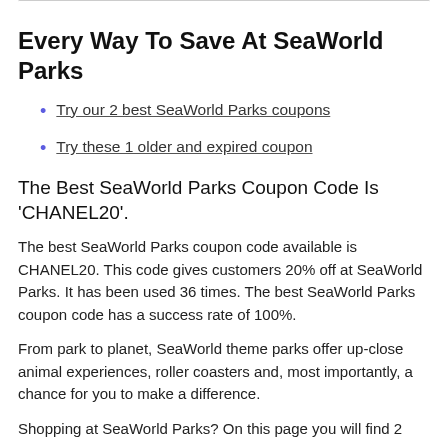Every Way To Save At SeaWorld Parks
Try our 2 best SeaWorld Parks coupons
Try these 1 older and expired coupon
The Best SeaWorld Parks Coupon Code Is 'CHANEL20'.
The best SeaWorld Parks coupon code available is CHANEL20. This code gives customers 20% off at SeaWorld Parks. It has been used 36 times. The best SeaWorld Parks coupon code has a success rate of 100%.
From park to planet, SeaWorld theme parks offer up-close animal experiences, roller coasters and, most importantly, a chance for you to make a difference.
Shopping at SeaWorld Parks? On this page you will find 2